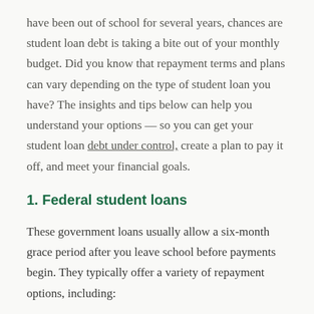have been out of school for several years, chances are student loan debt is taking a bite out of your monthly budget. Did you know that repayment terms and plans can vary depending on the type of student loan you have? The insights and tips below can help you understand your options — so you can get your student loan debt under control, create a plan to pay it off, and meet your financial goals.
1. Federal student loans
These government loans usually allow a six-month grace period after you leave school before payments begin. They typically offer a variety of repayment options, including: